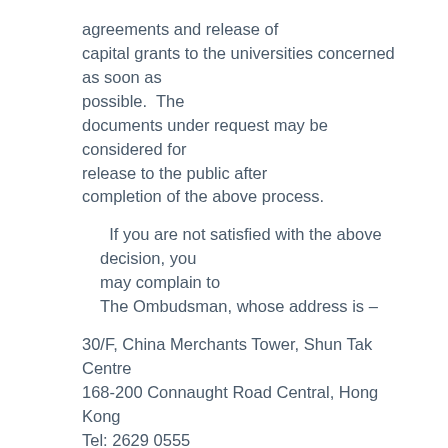agreements and release of capital grants to the universities concerned as soon as possible. The documents under request may be considered for release to the public after completion of the above process.
If you are not satisfied with the above decision, you may complain to The Ombudsman, whose address is –
30/F, China Merchants Tower, Shun Tak Centre
168-200 Connaught Road Central, Hong Kong
Tel: 2629 0555
Fax: 2882 8149
If you have further enquiries, please free feel to contact me at 2844 9946.